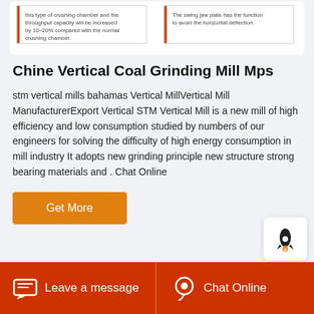[Figure (illustration): Partial view of a jaw crusher diagram showing crushing chamber with annotations about throughput capacity and swing jaw plate function]
Chine Vertical Coal Grinding Mill Mps
stm vertical mills bahamas Vertical MillVertical Mill ManufacturerExport Vertical STM Vertical Mill is a new mill of high efficiency and low consumption studied by numbers of our engineers for solving the difficulty of high energy consumption in mill industry It adopts new grinding principle new structure strong bearing materials and . Chat Online
[Figure (other): Rocket icon widget button]
Get More
Leave a message   Chat Online